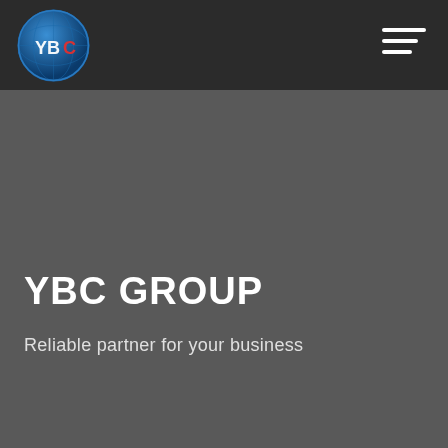[Figure (logo): YBC Group globe logo with Y, B, C letters on a blue globe, circular shape with text 'YOUR BUSINESS CONNECTS' around the border]
[Figure (other): Hamburger menu icon — three horizontal white lines of decreasing width, right-aligned in the dark header]
YBC GROUP
Reliable partner for your business